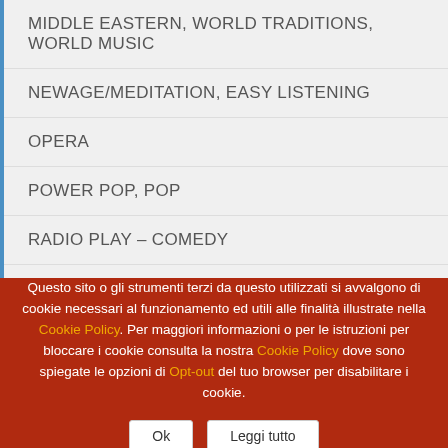MIDDLE EASTERN, WORLD TRADITIONS, WORLD MUSIC
NEWAGE/MEDITATION, EASY LISTENING
OPERA
POWER POP, POP
RADIO PLAY – COMEDY
ROCK – SOFT ROCK – HARD
SOLOISTS
Questo sito o gli strumenti terzi da questo utilizzati si avvalgono di cookie necessari al funzionamento ed utili alle finalità illustrate nella Cookie Policy. Per maggiori informazioni o per le istruzioni per bloccare i cookie consulta la nostra Cookie Policy dove sono spiegate le opzioni di Opt-out del tuo browser per disabilitare i cookie.